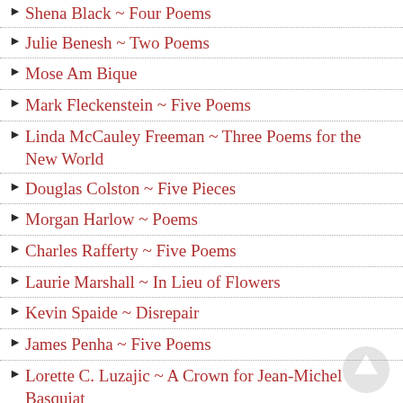Shena Black ~ Four Poems
Julie Benesh ~ Two Poems
Mose Am Bique
Mark Fleckenstein ~ Five Poems
Linda McCauley Freeman ~ Three Poems for the New World
Douglas Colston ~ Five Pieces
Morgan Harlow ~ Poems
Charles Rafferty ~ Five Poems
Laurie Marshall ~ In Lieu of Flowers
Kevin Spaide ~ Disrepair
James Penha ~ Five Poems
Lorette C. Luzajic ~ A Crown for Jean-Michel Basquiat